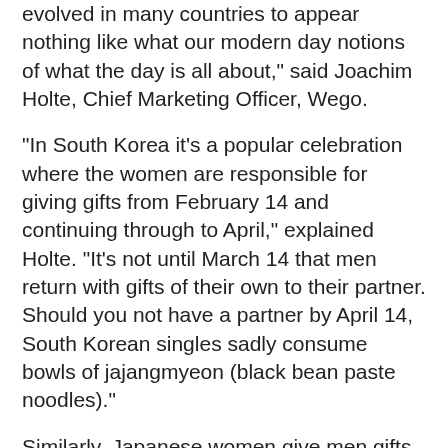evolved in many countries to appear nothing like what our modern day notions of what the day is all about," said Joachim Holte, Chief Marketing Officer, Wego.
"In South Korea it's a popular celebration where the women are responsible for giving gifts from February 14 and continuing through to April," explained Holte. "It's not until March 14 that men return with gifts of their own to their partner. Should you not have a partner by April 14, South Korean singles sadly consume bowls of jajangmyeon (black bean paste noodles)."
Similarly, Japanese women give men gifts of chocolates, sometimes handmade, and the men respond with white chocolate on March 14 (called 'White Day'), as a result of a popular marketing campaign by Japan's national confectionery association in the 1980s, which has since become an annual tradition.
"It's all about chocolate in Japan," said Holte. "The shops overflow with some incredibly creative displays and in true Japanese tradition, each chocolate represents different meanings."